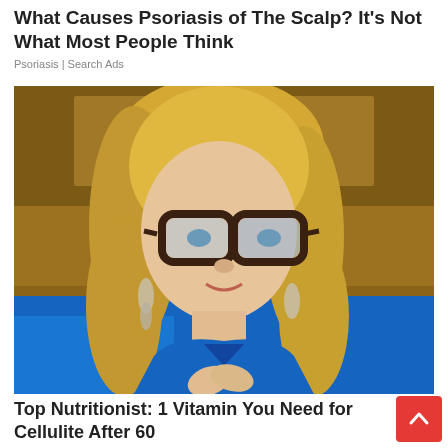What Causes Psoriasis of The Scalp? It’s Not What Most People Think
Psoriasis | Search Ads
[Figure (photo): A blonde woman wearing large dark-framed glasses and a blue blazer, with dangling earrings, appears to be speaking or gesturing with her hands pressed together. The background suggests a TV studio or panel setting with warm wood tones and teal/blue accents.]
Top Nutritionist: 1 Vitamin You Need for Cellulite After 60